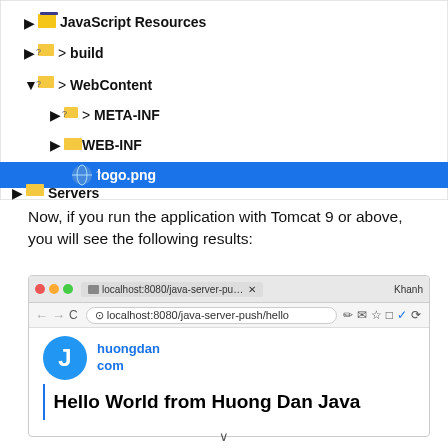[Figure (screenshot): IDE file tree showing JavaScript Resources, build, WebContent (expanded) with META-INF, WEB-INF, logo.png (selected/highlighted), and Servers folders]
Now, if you run the application with Tomcat 9 or above, you will see the following results:
[Figure (screenshot): Browser window showing localhost:8080/java-server-push/hello with huongdan.com logo and 'Hello World from Huong Dan Java' heading]